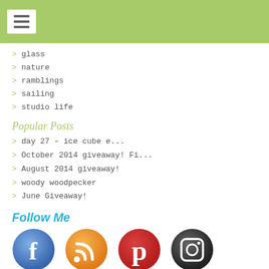Navigation menu header bar
> glass
> nature
> ramblings
> sailing
> studio life
Popular Posts
> day 27 – ice cube e...
> October 2014 giveaway! Fi...
> August 2014 giveaway!
> woody woodpecker
> June Giveaway!
Follow Me
[Figure (illustration): Social media icons: Facebook, RSS feed, Pinterest, Instagram]
Sign-up for blog alerts by email
First Name
Your email address